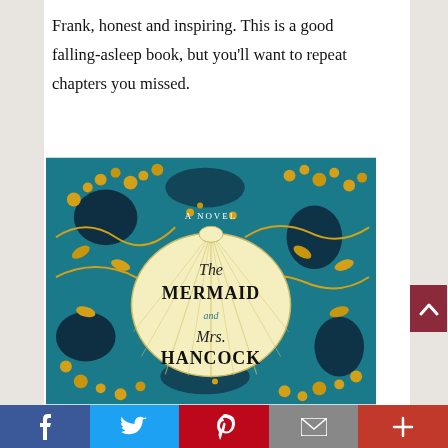Frank, honest and inspiring. This is a good falling-asleep book, but you'll want to repeat chapters you missed.
[Figure (illustration): Book cover of 'The Mermaid and Mrs. Hancock' — a novel. Teal background with ornate gold floral and bird patterns, with a large scallop shell in the center. Inside the shell: 'The Mermaid and Mrs. Hancock' in decorative script and serif lettering. 'A Novel' text at top.]